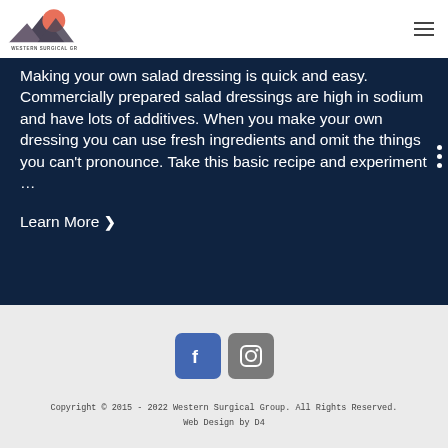[Figure (logo): Western Surgical Group logo — mountain silhouette with sun/circle, text 'WESTERN SURGICAL GROUP' below]
Making your own salad dressing is quick and easy. Commercially prepared salad dressings are high in sodium and have lots of additives. When you make your own dressing you can use fresh ingredients and omit the things you can't pronounce. Take this basic recipe and experiment …
Learn More ❯
[Figure (logo): Facebook icon (blue rounded square with 'f') and Instagram icon (grey rounded square with camera icon)]
Copyright © 2015 - 2022 Western Surgical Group. All Rights Reserved.
Web Design by D4